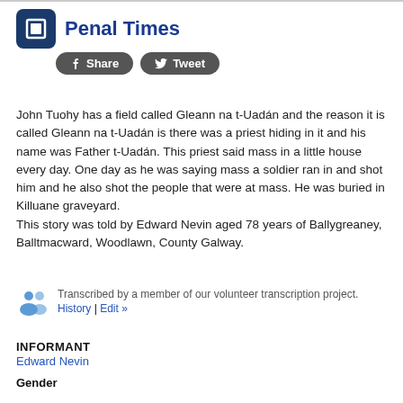Penal Times
John Tuohy has a field called Gleann na t-Uadán and the reason it is called Gleann na t-Uadán is there was a priest hiding in it and his name was Father t-Uadán. This priest said mass in a little house every day. One day as he was saying mass a soldier ran in and shot him and he also shot the people that were at mass. He was buried in Killuane graveyard.
This story was told by Edward Nevin aged 78 years of Ballygreaney, Balltmacward, Woodlawn, County Galway.
Transcribed by a member of our volunteer transcription project. History | Edit »
INFORMANT
Edward Nevin
Gender
male
Age
76